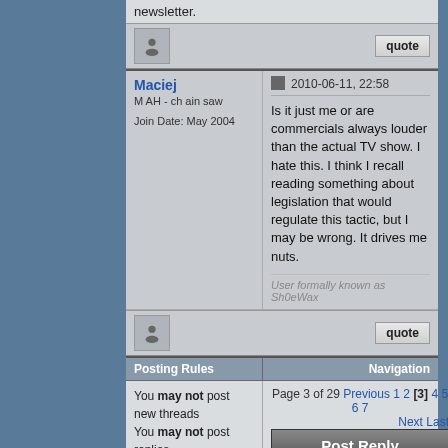newsletter.
Maciej
M AH - ch ain saw
Join Date: May 2004
2010-06-11, 22:58
Is it just me or are commercials always louder than the actual TV show. I hate this. I think I recall reading something about legislation that would regulate this tactic, but I may be wrong. It drives me nuts.
User formally known as Sh0eWax
Posting Rules
Navigation
You may not post new threads
You may not post replies
You may not post attachments
You may not edit your posts
Page 3 of 29 Previous 1 2 [3] 4 5 6 7 Next Last
Post Reply
Forum Jump